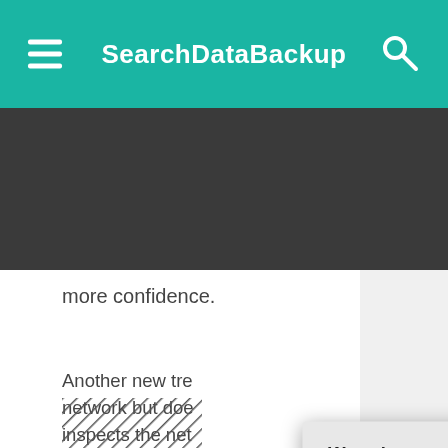SearchDataBackup
more confidence.
Another new tre... network but doe... inspects the net...
We want to... bad guys.
Herminio Re...
Director of IT, cit...
We value your privacy. TechTarget and its partners employ cookies to improve your experience on our site, to analyze traffic and performance, and to serve personalized content and advertising that are relevant to your professional interests. You can manage your settings at any time. Please view our Privacy Policy for more information
OK
Settings